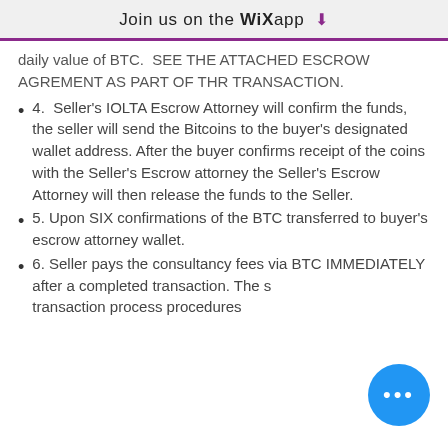Join us on the WiX app ⬇
daily value of BTC. SEE THE ATTACHED ESCROW AGREMENT AS PART OF THR TRANSACTION.
4.  Seller's IOLTA Escrow Attorney will confirm the funds, the seller will send the Bitcoins to the buyer's designated wallet address. After the buyer confirms receipt of the coins with the Seller's Escrow attorney the Seller's Escrow Attorney will then release the funds to the Seller.
5. Upon SIX confirmations of the BTC transferred to buyer's escrow attorney wallet.
6. Seller pays the consultancy fees via BTC IMMEDIATELY after a completed transaction. The s… transaction process procedures